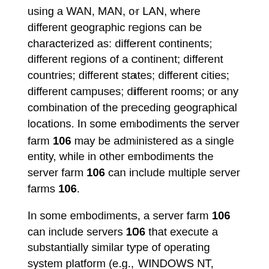using a WAN, MAN, or LAN, where different geographic regions can be characterized as: different continents; different regions of a continent; different countries; different states; different cities; different campuses; different rooms; or any combination of the preceding geographical locations. In some embodiments the server farm 106 may be administered as a single entity, while in other embodiments the server farm 106 can include multiple server farms 106.
In some embodiments, a server farm 106 can include servers 106 that execute a substantially similar type of operating system platform (e.g., WINDOWS NT, manufactured by Microsoft Corp. of Redmond, Wash., UNIX, LINUX, or SNOW LEOPARD.) In other embodiments, the server farm 106 can include a first group of servers 106 that execute a first type of operating system platform, and a second group of servers 106 that execute a second type of operating system platform. The server farm 106, in other embodiments, can include servers 106 that execute different types of operating system platforms.
The server 106, in some embodiments, can be any server